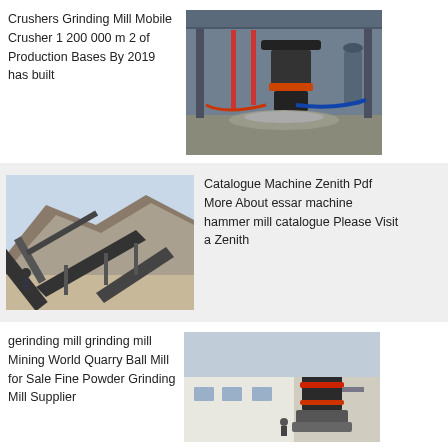Crushers Grinding Mill Mobile Crusher 1 200 000 m 2 of Production Bases By 2019 has built
[Figure (photo): Industrial crushing machine in a factory floor with gravel/aggregate material on the ground]
Catalogue Machine Zenith Pdf More About essar machine hammer mill catalogue Please Visit a Zenith
[Figure (photo): Outdoor quarry conveyor belt equipment on rocky hillside]
gerinding mill grinding mill Mining World Quarry Ball Mill for Sale Fine Powder Grinding Mill Supplier
[Figure (photo): Vertical grinding mill machine in an industrial facility]